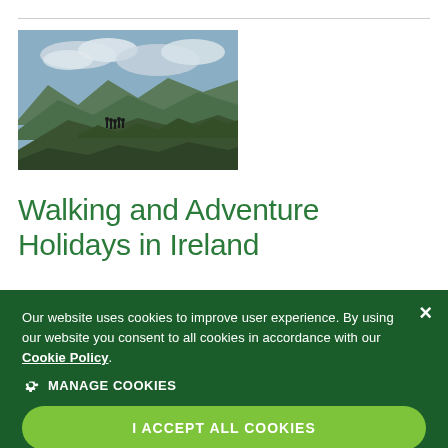[Figure (photo): Mountain landscape with hikers on a ridge, green hills and cloudy sky in Ireland]
Walking and Adventure Holidays in Ireland
Our website uses cookies to improve user experience. By using our website you consent to all cookies in accordance with our Cookie Policy.
⚙ MANAGE COOKIES
I ACCEPT ALL COOKIES
USE NECESSARY COOKIES ONLY